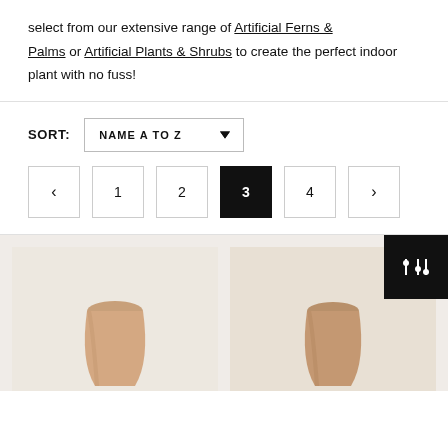select from our extensive range of Artificial Ferns & Palms or Artificial Plants & Shrubs to create the perfect indoor plant with no fuss!
SORT: NAME A TO Z
< 1 2 3 4 >
[Figure (photo): Two ceramic vase product thumbnails shown in a product grid, filter/sort icon button in top right corner]